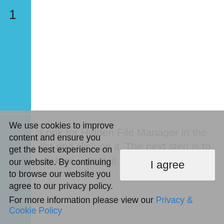1
Look for Hidden File Manager in the list and click on it. The next step is to click on uninstall, so you can initiate
We use cookies to improve content and ensure you get the best experience on our website. By continuing to browse our website you agree to our privacy policy.
For more information please view our Privacy & Cookie Policy